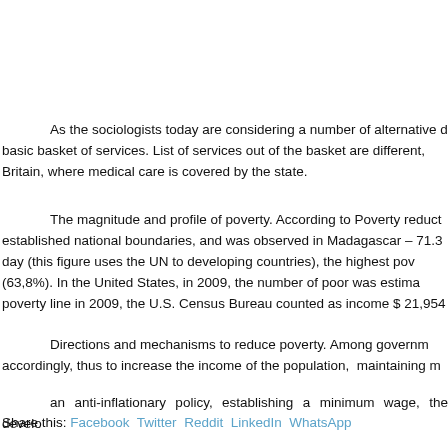As the sociologists today are considering a number of alternative d... basic basket of services. List of services out of the basket are different, ... Britain, where medical care is covered by the state.
The magnitude and profile of poverty. According to Poverty reduct... established national boundaries, and was observed in Madagascar – 71.3 ... day (this figure uses the UN to developing countries), the highest pov... (63,8%). In the United States, in 2009, the number of poor was estima... poverty line in 2009, the U.S. Census Bureau counted as income $ 21,954...
Directions and mechanisms to reduce poverty. Among governm... accordingly, thus to increase the income of the population, maintaining m...
an anti-inflationary policy, establishing a minimum wage, the develo...
Share this: Facebook Twitter Reddit LinkedIn WhatsApp